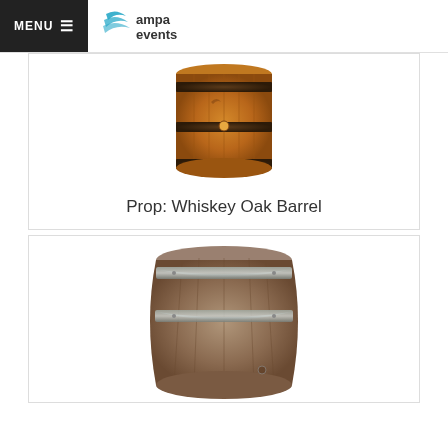MENU  ampa events
[Figure (photo): Wooden whiskey oak barrel with metal bands, viewed from slightly above, on white background]
Prop: Whiskey Oak Barrel
[Figure (photo): Gray/aged wooden wine barrel with metal bands, viewed from the side on white background, partially cropped at bottom]